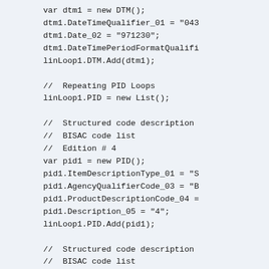var dtm1 = new DTM();
dtm1.DateTimeQualifier_01 = "043
dtm1.Date_02 = "971230";
dtm1.DateTimePeriodFormatQualifi
linLoop1.DTM.Add(dtm1);

//  Repeating PID Loops
linLoop1.PID = new List();

//  Structured code description
//  BISAC code list
//  Edition # 4
var pid1 = new PID();
pid1.ItemDescriptionType_01 = "S
pid1.AgencyQualifierCode_03 = "B
pid1.ProductDescriptionCode_04 =
pid1.Description_05 = "4";
linLoop1.PID.Add(pid1);

//  Structured code description
//  BISAC code list
//  Binding Code